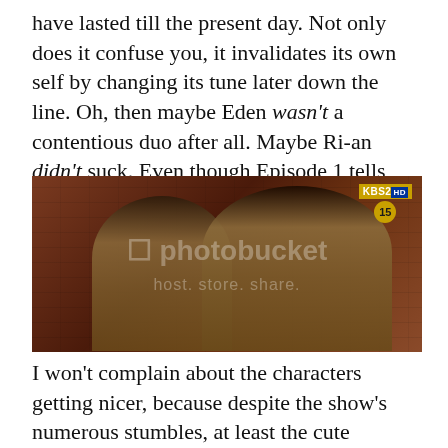have lasted till the present day. Not only does it confuse you, it invalidates its own self by changing its tune later down the line. Oh, then maybe Eden wasn't a contentious duo after all. Maybe Ri-an didn't suck. Even though Episode 1 tells otherwise.
[Figure (photo): A screenshot from KBS2 HD Korean drama showing two young male actors in school uniforms taking a selfie, with a red brick wall in the background. A Photobucket watermark is overlaid on the image. The KBS2 HD logo and a '15' rating badge appear in the top right corner.]
I won't complain about the characters getting nicer, because despite the show's numerous stumbles, at least the cute moments between the cast buoyed